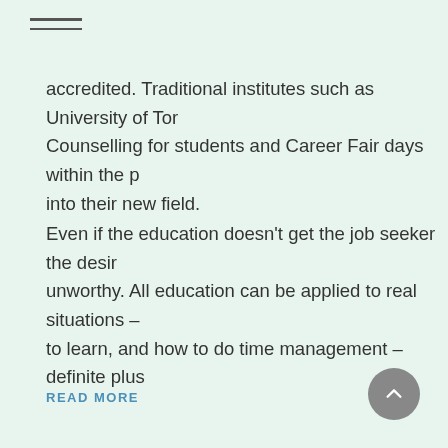menu icon
accredited. Traditional institutes such as University of Tor… Counselling for students and Career Fair days within the p… into their new field.
Even if the education doesn't get the job seeker the desir… unworthy. All education can be applied to real situations – to learn, and how to do time management – definite plus…
READ MORE